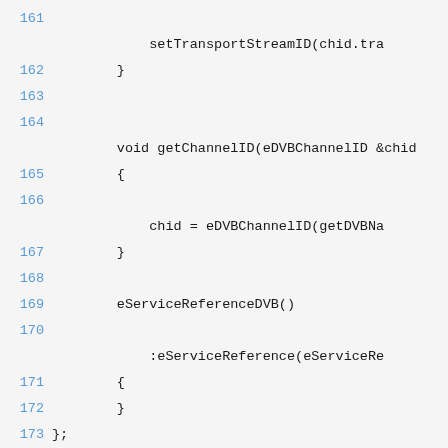Code listing lines 161-176 showing C++ class methods: setTransportStreamID, getChannelID, eServiceReferenceDVB constructor